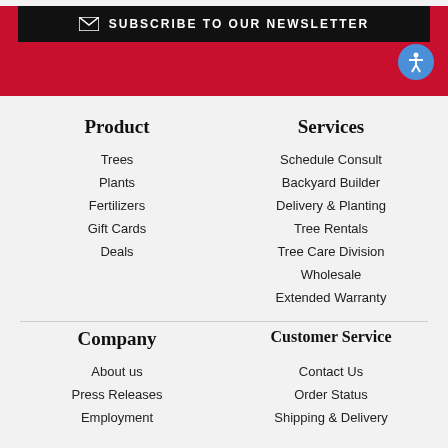SUBSCRIBE TO OUR NEWSLETTER
Product
Trees
Plants
Fertilizers
Gift Cards
Deals
Services
Schedule Consult
Backyard Builder
Delivery & Planting
Tree Rentals
Tree Care Division
Wholesale
Extended Warranty
Company
About us
Press Releases
Employment
Customer Service
Contact Us
Order Status
Shipping & Delivery